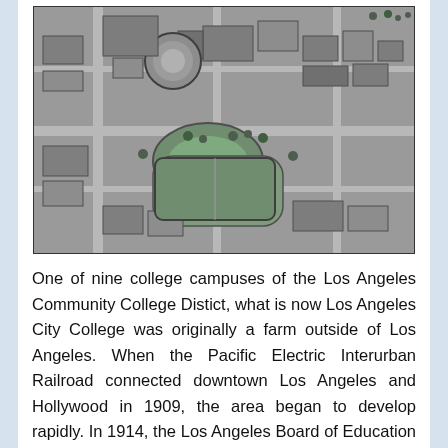[Figure (photo): Black and white aerial photograph of Los Angeles City College campus, showing buildings, athletic fields, and surrounding neighborhood.]
One of nine college campuses of the Los Angeles Community College Distict, what is now Los Angeles City College was originally a farm outside of Los Angeles. When the Pacific Electric Interurban Railroad connected downtown Los Angeles and Hollywood in 1909, the area began to develop rapidly. In 1914, the Los Angeles Board of Education moved the California State Normal School, a school to train teachers, from downtown Los Angeles to